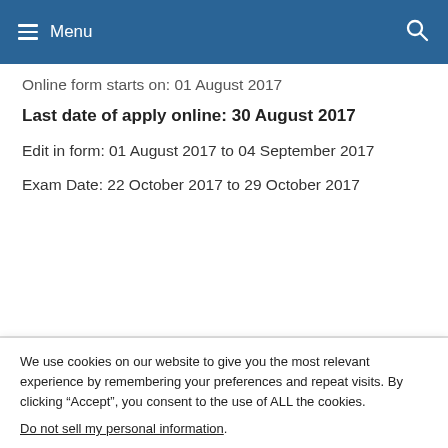Menu
Online form starts on: 01 August 2017
Last date of apply online: 30 August 2017
Edit in form: 01 August 2017 to 04 September 2017
Exam Date: 22 October 2017 to 29 October 2017
We use cookies on our website to give you the most relevant experience by remembering your preferences and repeat visits. By clicking “Accept”, you consent to the use of ALL the cookies.
Do not sell my personal information.